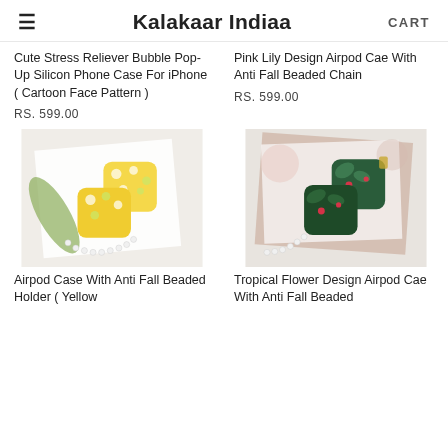Kalakaar Indiaa  CART
Cute Stress Reliever Bubble Pop-Up Silicon Phone Case For iPhone ( Cartoon Face Pattern )
RS. 599.00
Pink Lily Design Airpod Cae With Anti Fall Beaded Chain
RS. 599.00
[Figure (photo): Yellow floral airpod case with pearl beaded chain on white background]
[Figure (photo): Dark tropical flower design airpod case with pearl beaded chain on magazine background]
Airpod Case With Anti Fall Beaded Holder ( Yellow
Tropical Flower Design Airpod Cae With Anti Fall Beaded